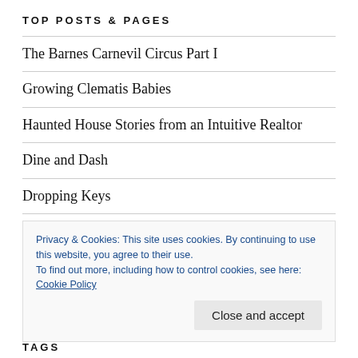TOP POSTS & PAGES
The Barnes Carnevil Circus Part I
Growing Clematis Babies
Haunted House Stories from an Intuitive Realtor
Dine and Dash
Dropping Keys
Meet Absolem, My Mascot
Weekend Fun in Branson MO
62 Outrageous Things to Do for My 62nd Birthday
Privacy & Cookies: This site uses cookies. By continuing to use this website, you agree to their use.
To find out more, including how to control cookies, see here: Cookie Policy
Close and accept
TAGS